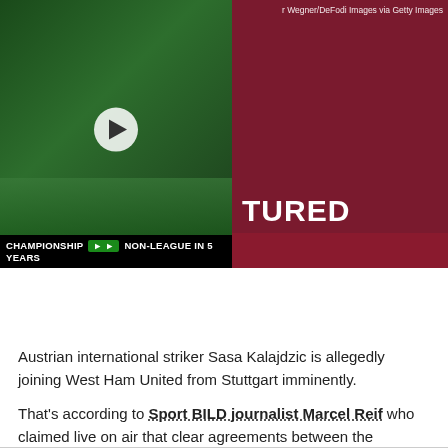[Figure (screenshot): Video thumbnail showing football player on grass pitch with green jersey, play button overlay, and caption bar reading 'Championship → Non-League In 5 Years']
[Figure (photo): Right panel showing dark maroon/burgundy background with text 'FEATURED' and Getty Images credit: 'r Wegner/DeFodi Images via Getty Images']
[Figure (infographic): Social sharing icons: Facebook, Twitter, WhatsApp, Reddit, Pinterest in teal/cyan color]
Austrian international striker Sasa Kalajdzic is allegedly joining West Ham United from Stuttgart imminently.
That's according to Sport BILD journalist Marcel Reif who claimed live on air that clear agreements between the Hammers, Stuttgart and the 24-year-old striker have been made.